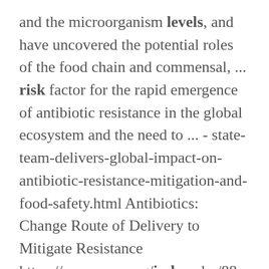and the microorganism levels, and have uncovered the potential roles of the food chain and commensal, ... risk factor for the rapid emergence of antibiotic resistance in the global ecosystem and the need to ... - state-team-delivers-global-impact-on-antibiotic-resistance-mitigation-and-food-safety.html Antibiotics: Change Route of Delivery to Mitigate Resistance https://www.asm.org/index.php/88-news
...
Individual Studies
https://fst.osu.edu/courses/fdscte-8193